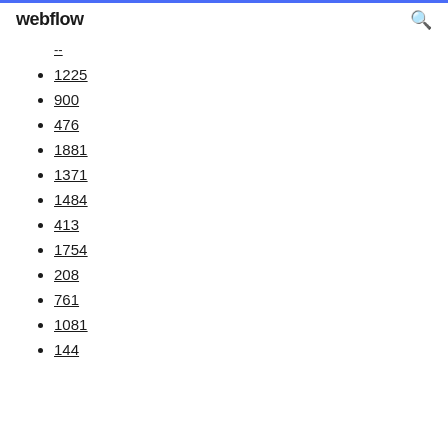webflow
--
1225
900
476
1881
1371
1484
413
1754
208
761
1081
144